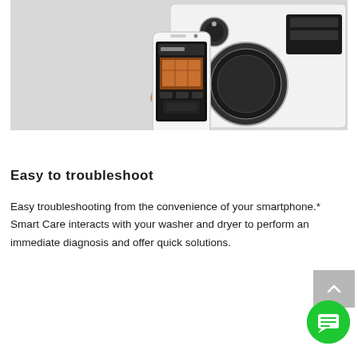[Figure (photo): A hand holding a Samsung smartphone displaying an app interface, placed in front of a white front-loading washing machine. The phone is positioned near the washer door.]
Easy to troubleshoot
Easy troubleshooting from the convenience of your smartphone.* Smart Care interacts with your washer and dryer to perform an immediate diagnosis and offer quick solutions.